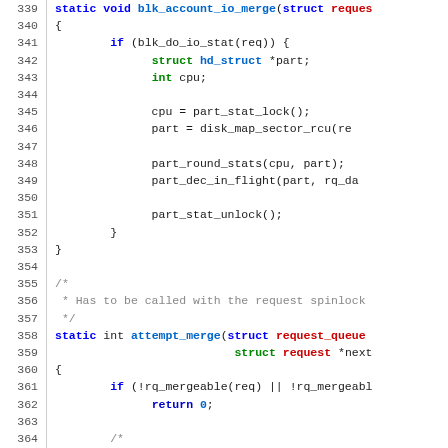[Figure (screenshot): Source code listing showing C functions blk_account_io_merge and attempt_merge with line numbers 339-365, syntax highlighted in blue, green, and red on white background.]